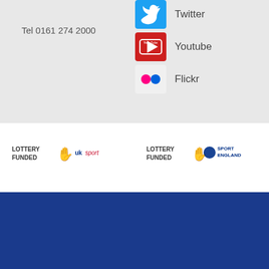Tel 0161 274 2000
[Figure (logo): Twitter social media icon (blue bird) with label 'Twitter']
[Figure (logo): YouTube icon (red) with label 'Youtube']
[Figure (logo): Flickr icon (pink/red dots) with label 'Flickr']
[Figure (logo): Lottery Funded UK Sport logo]
[Figure (logo): Lottery Funded Sport England logo]
© 2022 British Cycling
All Rights Reserved.
[Figure (logo): Scottish Cycling logo in white on dark blue background]
[Figure (logo): Beicio Cymru Welsh Cycling logo in white on dark blue background]